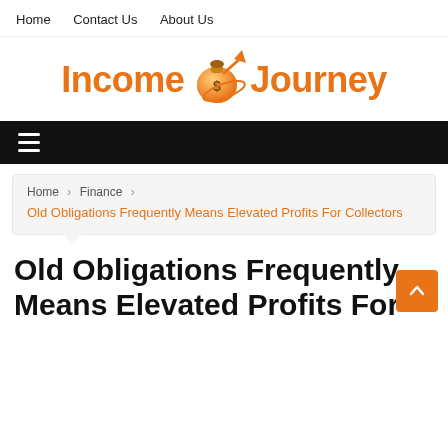Home   Contact Us   About Us
[Figure (logo): Income Journey logo with orange money bag icon and arrow between 'Income' and 'Journey' text in orange bold font]
☰ (hamburger menu icon)
Home › Finance › Old Obligations Frequently Means Elevated Profits For Collectors
Old Obligations Frequently Means Elevated Profits For